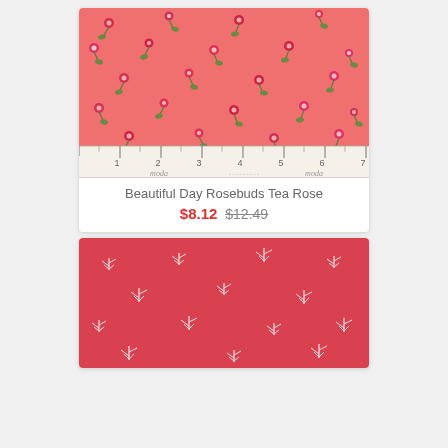[Figure (photo): Pink fabric with small rosebuds pattern, with a ruler showing inches 1-7 at the bottom, and 'moda' branding text]
Beautiful Day Rosebuds Tea Rose
$8.12 $12.49
[Figure (photo): Red fabric with small white botanical/branch sprigs pattern, partially visible]